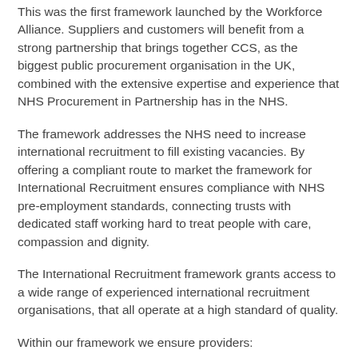This was the first framework launched by the Workforce Alliance. Suppliers and customers will benefit from a strong partnership that brings together CCS, as the biggest public procurement organisation in the UK, combined with the extensive expertise and experience that NHS Procurement in Partnership has in the NHS.
The framework addresses the NHS need to increase international recruitment to fill existing vacancies. By offering a compliant route to market the framework for International Recruitment ensures compliance with NHS pre-employment standards, connecting trusts with dedicated staff working hard to treat people with care, compassion and dignity.
The International Recruitment framework grants access to a wide range of experienced international recruitment organisations, that all operate at a high standard of quality.
Within our framework we ensure providers:
Meet government requirements on good industry practice, codes of practice, legislation, voluntary arrangements